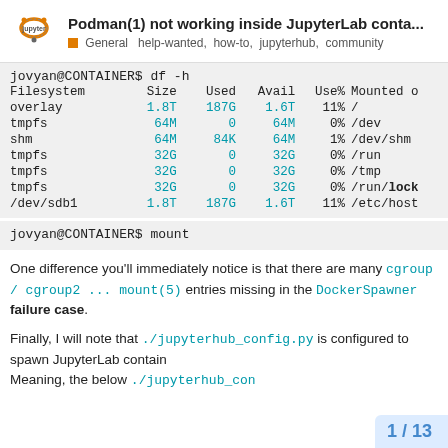Podman(1) not working inside JupyterLab conta...
General  help-wanted,  how-to,  jupyterhub,  community
jovyan@CONTAINER$ df -h
| Filesystem | Size | Used | Avail | Use% | Mounted o |
| --- | --- | --- | --- | --- | --- |
| overlay | 1.8T | 187G | 1.6T | 11% | / |
| tmpfs | 64M | 0 | 64M | 0% | /dev |
| shm | 64M | 84K | 64M | 1% | /dev/shm |
| tmpfs | 32G | 0 | 32G | 0% | /run |
| tmpfs | 32G | 0 | 32G | 0% | /tmp |
| tmpfs | 32G | 0 | 32G | 0% | /run/lock |
| /dev/sdb1 | 1.8T | 187G | 1.6T | 11% | /etc/host |
jovyan@CONTAINER$ mount
One difference you'll immediately notice is that there are many cgroup / cgroup2 ... mount(5) entries missing in the DockerSpawner failure case.
Finally, I will note that ./jupyterhub_config.py is configured to spawn JupyterLab contain Meaning, the below ./jupyterhub_con
1 / 13